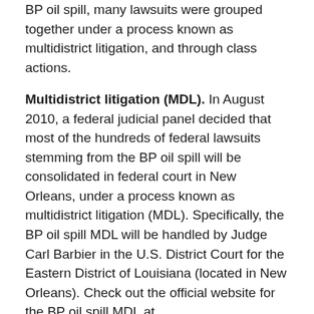BP oil spill, many lawsuits were grouped together under a process known as multidistrict litigation, and through class actions.
Multidistrict litigation (MDL). In August 2010, a federal judicial panel decided that most of the hundreds of federal lawsuits stemming from the BP oil spill will be consolidated in federal court in New Orleans, under a process known as multidistrict litigation (MDL). Specifically, the BP oil spill MDL will be handled by Judge Carl Barbier in the U.S. District Court for the Eastern District of Louisiana (located in New Orleans). Check out the official website for the BP oil spill MDL at www.laed.uscourts.gov/OilSpill/OilSpill.htm. (To learn more about MDL and what happens when